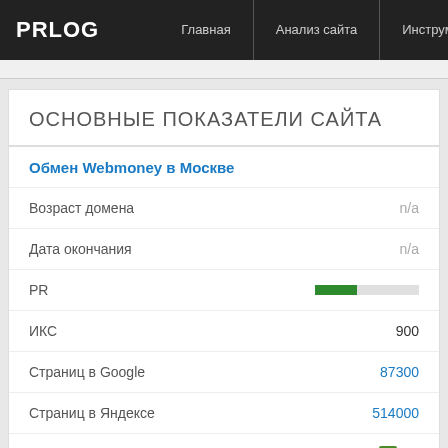PRLOG | Главная | Анализ сайта | Инструме
ОСНОВНЫЕ ПОКАЗАТЕЛИ САЙТА
Обмен Webmoney в Москве
| Показатель | Значение |
| --- | --- |
| Возраст домена | n/a |
| Дата окончания | n/a |
| PR | ■■■■■■□□□□ |
| ИКС | 900 |
| Страниц в Google | 87300 |
| Страниц в Яндексе | 514000 |
| Dmoz | d Да |